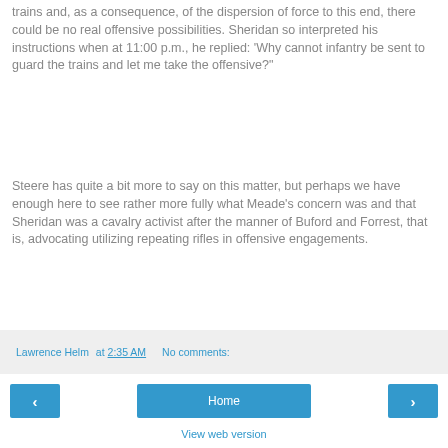trains and, as a consequence, of the dispersion of force to this end, there could be no real offensive possibilities. Sheridan so interpreted his instructions when at 11:00 p.m., he replied: 'Why cannot infantry be sent to guard the trains and let me take the offensive?'
Steere has quite a bit more to say on this matter, but perhaps we have enough here to see rather more fully what Meade's concern was and that Sheridan was a cavalry activist after the manner of Buford and Forrest, that is, advocating utilizing repeating rifles in offensive engagements.
Lawrence Helm at 2:35 AM   No comments:
Home
View web version